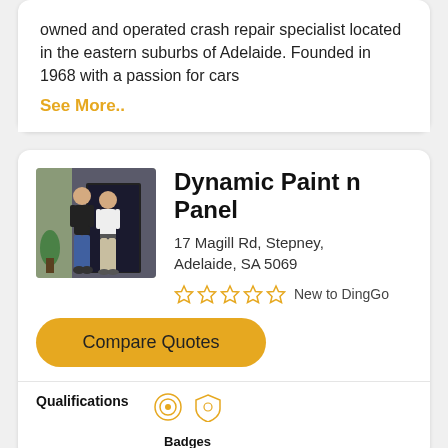owned and operated crash repair specialist located in the eastern suburbs of Adelaide. Founded in 1968 with a passion for cars
See More..
[Figure (photo): Two men standing in front of a building entrance — one in a dark shirt, one in a white shirt]
Dynamic Paint n Panel
17 Magill Rd, Stepney, Adelaide, SA 5069
☆☆☆☆☆  New to DingGo
Compare Quotes
Qualifications
Badges